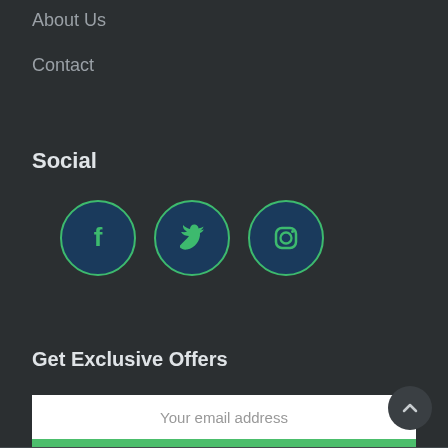About Us
Contact
Social
[Figure (illustration): Three social media icons in circular buttons with green borders on dark blue backgrounds: Facebook, Twitter, Instagram]
Get Exclusive Offers
Your email address
Sign up